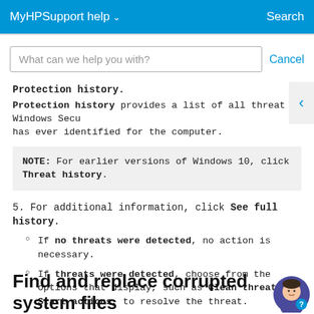MyHPSupport help ∨    Search
What can we help you with?    Cancel
Protection history.
Protection history provides a list of all threat Windows Security has ever identified for the computer.
NOTE: For earlier versions of Windows 10, click Threat history.
5. For additional information, click See full history.
If no threats were detected, no action is necessary.
If threats were detected, choose from the options that display, such as Clean threats or Start actions, to resolve the threat.
Find and replace corrupted system files